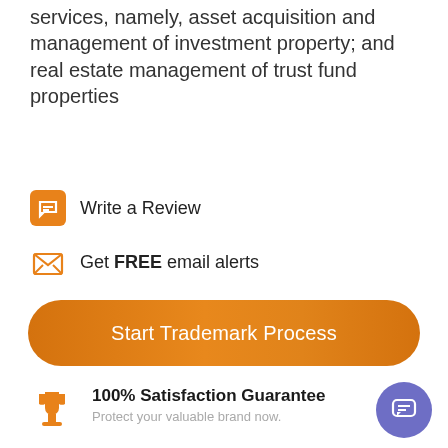services, namely, asset acquisition and management of investment property; and real estate management of trust fund properties
Write a Review
Get FREE email alerts
Start Trademark Process
100% Satisfaction Guarantee
Protect your valuable brand now.
Classification Information
Intent to Use Trademark – Applicant has not submitted proof of use in commerce the the USPTO.